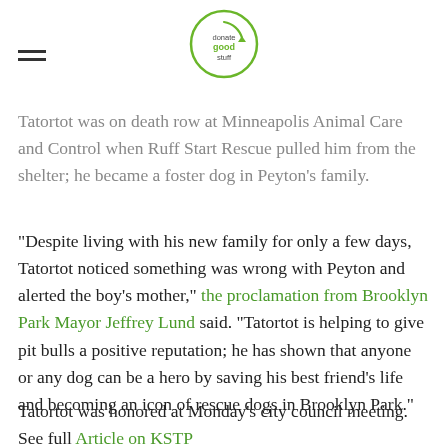donate good stuff (logo)
Tatortot was on death row at Minneapolis Animal Care and Control when Ruff Start Rescue pulled him from the shelter; he became a foster dog in Peyton's family.
"Despite living with his new family for only a few days, Tatortot noticed something was wrong with Peyton and alerted the boy's mother," the proclamation from Brooklyn Park Mayor Jeffrey Lund said. "Tatortot is helping to give pit bulls a positive reputation; he has shown that anyone or any dog can be a hero by saving his best friend's life and becoming an icon of rescue dogs in Brooklyn Park."
Tatortot was honored at Monday's city council meeting. See full Article on KSTP